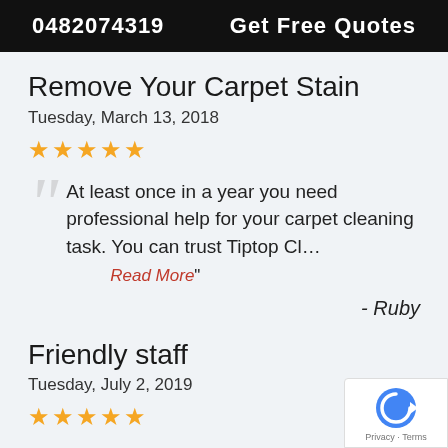0482074319   Get Free Quotes
Remove Your Carpet Stain
Tuesday, March 13, 2018
★★★★★
At least once in a year you need professional help for your carpet cleaning task. You can trust Tiptop Cl… Read More"
- Ruby
Friendly staff
Tuesday, July 2, 2019
★★★★★